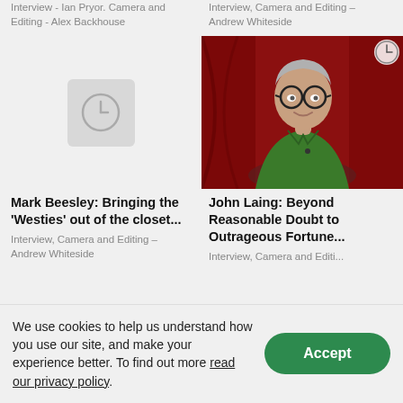Interview - Ian Pryor. Camera and Editing - Alex Backhouse
Interview, Camera and Editing – Andrew Whiteside
[Figure (photo): Placeholder thumbnail with clock icon for Mark Beesley video]
[Figure (photo): Thumbnail photo of John Laing, older man with glasses and grey hair wearing green shirt, seated in front of red curtain, with clock icon overlay]
Mark Beesley: Bringing the 'Westies' out of the closet...
John Laing: Beyond Reasonable Doubt to Outrageous Fortune...
Interview, Camera and Editing – Andrew Whiteside
Interview, Camera and Editi...
We use cookies to help us understand how you use our site, and make your experience better. To find out more read our privacy policy.